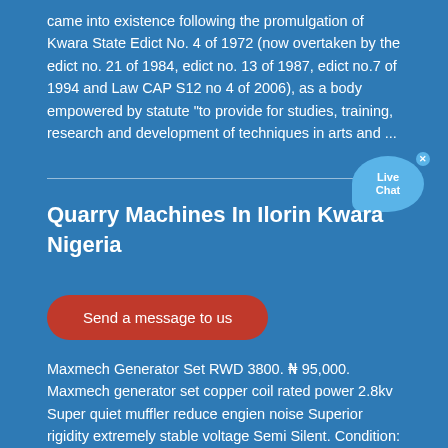came into existence following the promulgation of Kwara State Edict No. 4 of 1972 (now overtaken by the edict no. 21 of 1984, edict no. 13 of 1987, edict no.7 of 1994 and Law CAP S12 no 4 of 2006), as a body empowered by statute "to provide for studies, training, research and development of techniques in arts and ...
[Figure (other): Live Chat bubble widget with close X button]
Quarry Machines In Ilorin Kwara Nigeria
Send a message to us
Maxmech Generator Set RWD 3800. ₦ 95,000. Maxmech generator set copper coil rated power 2.8kv Super quiet muffler reduce engien noise Superior rigidity extremely stable voltage Semi Silent. Condition: Brand New. Kwara State, Ilorin East, 1 hour ago –